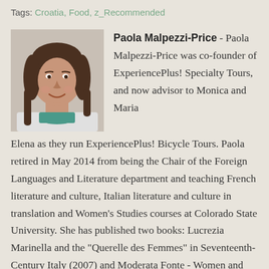Tags: Croatia, Food, z_Recommended
[Figure (photo): Headshot photo of Paola Malpezzi-Price, a woman with dark hair, smiling, wearing a teal scarf]
Paola Malpezzi-Price - Paola Malpezzi-Price was co-founder of ExperiencePlus! Specialty Tours, and now advisor to Monica and Maria Elena as they run ExperiencePlus! Bicycle Tours. Paola retired in May 2014 from being the Chair of the Foreign Languages and Literature department and teaching French literature and culture, Italian literature and culture in translation and Women's Studies courses at Colorado State University. She has published two books: Lucrezia Marinella and the "Querelle des Femmes" in Seventeenth-Century Italy (2007) and Moderata Fonte - Women and Life in Sixteenth-century Venice (2003), both